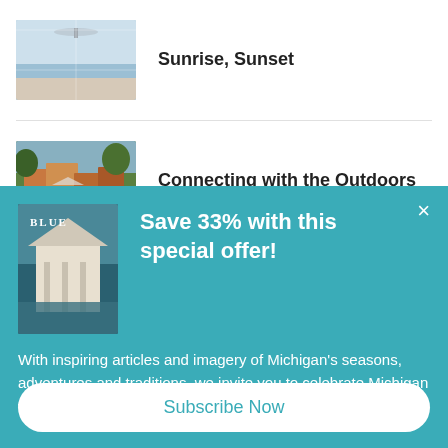[Figure (photo): Interior room with large windows overlooking a water/ocean view, with ceiling fan and soft furnishings]
Sunrise, Sunset
[Figure (photo): Colorful lakeside or waterfront houses surrounded by trees]
Connecting with the Outdoors
[Figure (photo): Cover of Michigan BLUE magazine showing a white house on water]
Save 33% with this special offer!
With inspiring articles and imagery of Michigan's seasons, adventures and traditions, we invite you to celebrate Michigan with us. Subscribe to Michigan BLUE today!
Subscribe Now